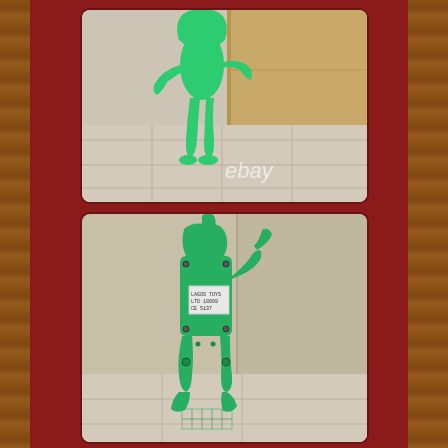[Figure (photo): Top photo: front/side view of a green Gumby-style plastic toy figure standing, showing the upper body and legs. 'ebay' watermark visible at bottom center. Background shows light-colored tiles and cardboard box corner.]
[Figure (photo): Bottom photo: back view of the same green Gumby-style plastic toy figure, showing the back panel with screws, a small label/sticker, and the leg joints. The figure is flat and made of green plastic.]